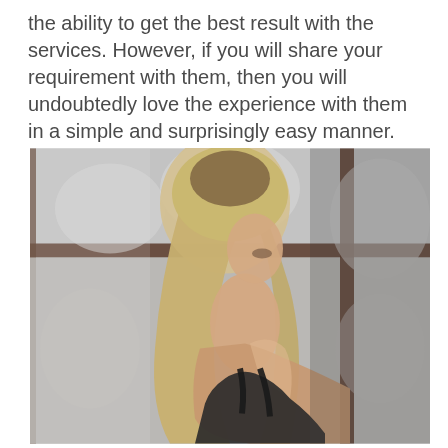the ability to get the best result with the services. However, if you will share your requirement with them, then you will undoubtedly love the experience with them in a simple and surprisingly easy manner.
[Figure (photo): A young woman with long straight blonde hair, seen from behind/side profile, wearing a black outfit, looking downward, standing in front of large industrial-style windows with bokeh background.]